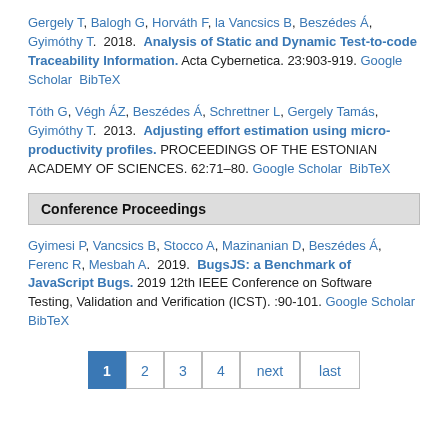Gergely T, Balogh G, Horváth F, la Vancsics B, Beszédes Á, Gyimóthy T.  2018.  Analysis of Static and Dynamic Test-to-code Traceability Information. Acta Cybernetica. 23:903-919. Google Scholar  BibTeX
Tóth G, Végh ÁZ, Beszédes Á, Schrettner L, Gergely Tamás, Gyimóthy T.  2013.  Adjusting effort estimation using micro-productivity profiles. PROCEEDINGS OF THE ESTONIAN ACADEMY OF SCIENCES. 62:71–80. Google Scholar  BibTeX
Conference Proceedings
Gyimesi P, Vancsics B, Stocco A, Mazinanian D, Beszédes Á, Ferenc R, Mesbah A.  2019.  BugsJS: a Benchmark of JavaScript Bugs. 2019 12th IEEE Conference on Software Testing, Validation and Verification (ICST). :90-101. Google Scholar  BibTeX
Pagination: 1 2 3 4 next last